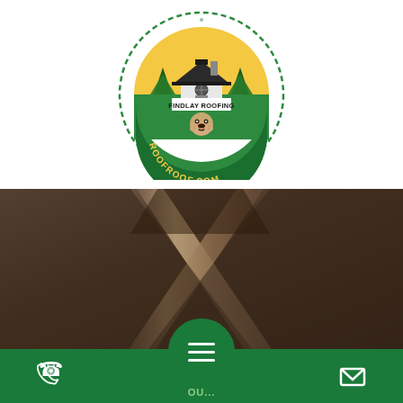[Figure (logo): Findlay Roofing circular logo with a house, trees, bulldog mascot, and text 'FINDLAY ROOFING' and 'ROOFROOF.COM' on a green circle border]
[Figure (photo): Dark background photo of roof ridge beams/rafters forming an X or A-frame pattern, viewed from inside]
[Figure (infographic): Green bottom navigation bar with phone icon on left, hamburger menu button in center circle, and email/envelope icon on right]